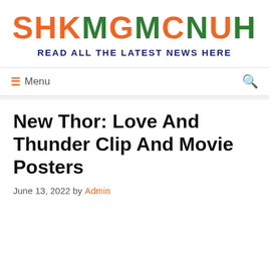SHKMGMCNUH
READ ALL THE LATEST NEWS HERE
≡ Menu
New Thor: Love And Thunder Clip And Movie Posters
June 13, 2022 by Admin